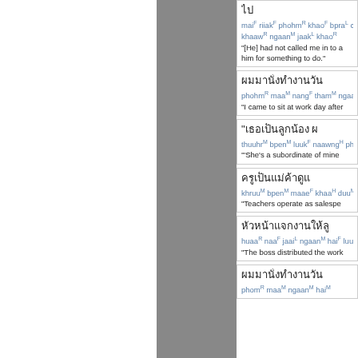mai F riiak F phohm R khao F bpra L choo khaaw R ngaan M jaak L khao R "[He] had not called me in to ask him for something to do."
phohm R maa M nang F tham F ngaan M "I came to sit at work day after"
"thuuhr M bpen M luuk F naawng H phohm "She's a subordinate of mine"
khruu M bpen M maae F khaa H duu M la "Teachers operate as salespe"
huaa R naa F jaai L ngaan M hai F luuk F "The boss distributed the work"
Thai text entry